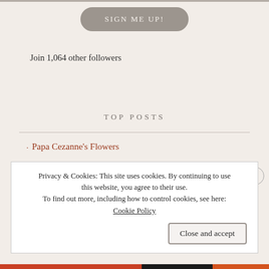SIGN ME UP!
Join 1,064 other followers
TOP POSTS
Papa Cezanne's Flowers
Privacy & Cookies: This site uses cookies. By continuing to use this website, you agree to their use. To find out more, including how to control cookies, see here: Cookie Policy
Close and accept